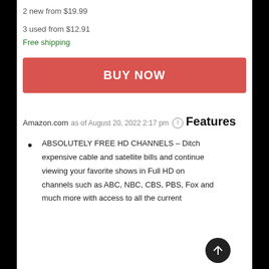2 new from $19.99
3 used from $12.91
Free shipping
BUY NOW
Amazon.com
as of August 20, 2022 2:17 pm
Features
ABSOLUTELY FREE HD CHANNELS – Ditch expensive cable and satellite bills and continue viewing your favorite shows in Full HD on channels such as ABC, NBC, CBS, PBS, Fox and much more with access to all the current